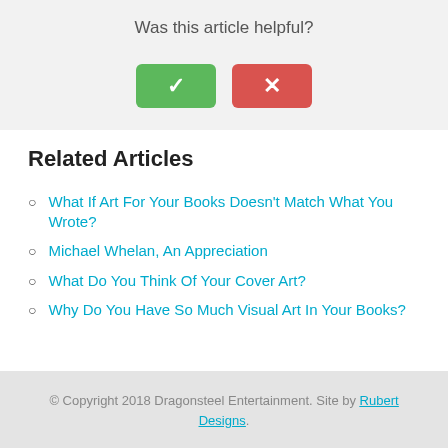Was this article helpful?
[Figure (other): Two buttons: a green checkmark button and a red/pink X button for article helpfulness rating]
Related Articles
What If Art For Your Books Doesn't Match What You Wrote?
Michael Whelan, An Appreciation
What Do You Think Of Your Cover Art?
Why Do You Have So Much Visual Art In Your Books?
© Copyright 2018 Dragonsteel Entertainment. Site by Rubert Designs.